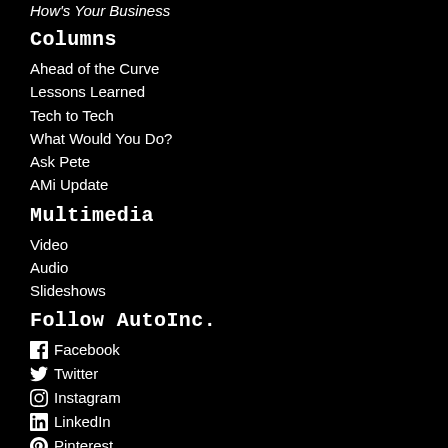How's Your Business
Columns
Ahead of the Curve
Lessons Learned
Tech to Tech
What Would You Do?
Ask Pete
AMi Update
Multimedia
Video
Audio
Slideshows
Follow AutoInc.
Facebook
Twitter
Instagram
LinkedIn
Pinterest
YouTube
[Members Only Facebook Group]
Blogs
ASA Insights
Coach's Corner
Finding My “Why”
One Eye In The Mirror